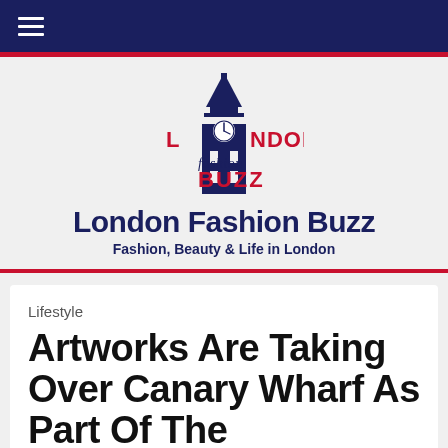≡
[Figure (logo): London Fashion Buzz logo featuring a dark navy Big Ben tower silhouette with a clock face, and the text 'LONDON' in red bold letters, 'fashion' in dark navy italic script, and 'BUZZ' in red bold letters]
London Fashion Buzz
Fashion, Beauty & Life in London
Lifestyle
Artworks Are Taking Over Canary Wharf As Part Of The